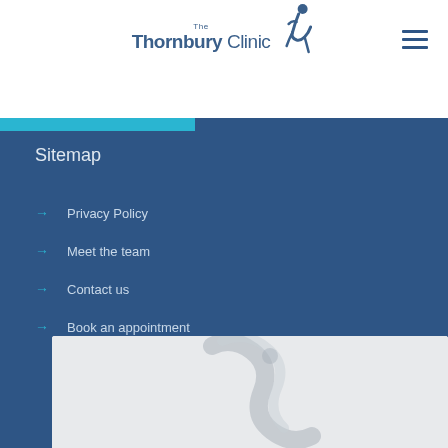The Thornbury Clinic
Sitemap
→ Privacy Policy
→ Meet the team
→ Contact us
→ Book an appointment
[Figure (logo): Thornbury Clinic logo with figure icon at bottom of page]